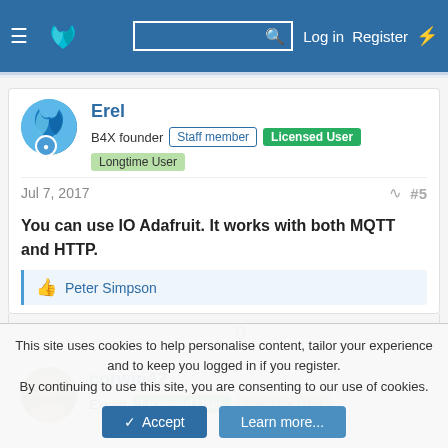Navigation bar with logo, search, Log in, Register
Erel
B4X founder   Staff member   Licensed User   Longtime User
Jul 7, 2017   #5
You can use IO Adafruit. It works with both MQTT and HTTP.
Peter Simpson
0
corwin42
Expert   Licensed User   Longtime User
This site uses cookies to help personalise content, tailor your experience and to keep you logged in if you register.
By continuing to use this site, you are consenting to our use of cookies.